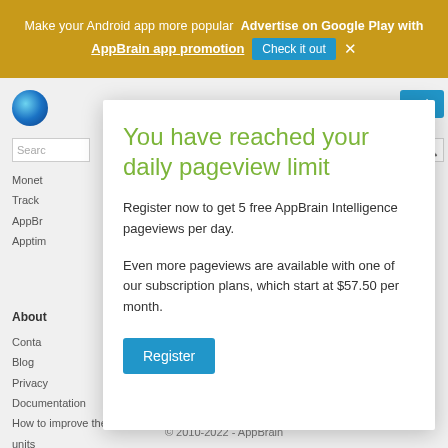Make your Android app more popular  Advertise on Google Play with AppBrain app promotion  Check it out  ×
You have reached your daily pageview limit
Register now to get 5 free AppBrain Intelligence pageviews per day.
Even more pageviews are available with one of our subscription plans, which start at $57.50 per month.
Register
© 2010-2022 - AppBrain